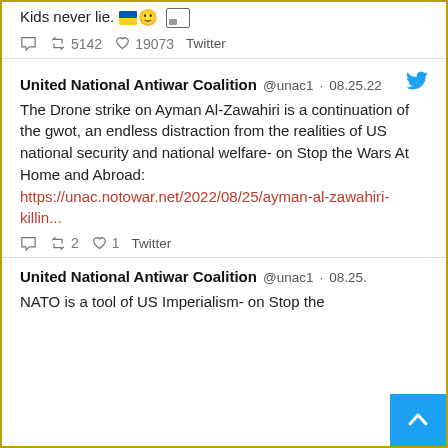Kids never lie. 🇺🇦🙂 [image icon]
↺ 5142  ♡ 19073  Twitter
United National Antiwar Coalition @unac1 · 08.25.22
The Drone strike on Ayman Al-Zawahiri is a continuation of the gwot, an endless distraction from the realities of US national security and national welfare- on Stop the Wars At Home and Abroad: https://unac.notowar.net/2022/08/25/ayman-al-zawahiri-killin...
↺ 2  ♡ 1  Twitter
United National Antiwar Coalition @unac1 · 08.25.
NATO is a tool of US Imperialism- on Stop the